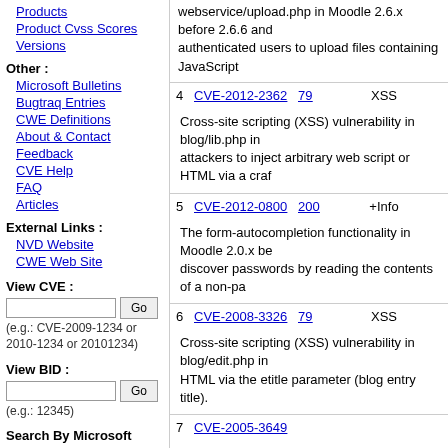Products
Product Cvss Scores
Versions
Other :
Microsoft Bulletins
Bugtraq Entries
CWE Definitions
About & Contact
Feedback
CVE Help
FAQ
Articles
External Links :
NVD Website
CWE Web Site
View CVE :
(e.g.: CVE-2009-1234 or 2010-1234 or 20101234)
View BID :
(e.g.: 12345)
Search By Microsoft
webservice/upload.php in Moodle 2.6.x before 2.6.6 and authenticated users to upload files containing JavaScript
| # | CVE ID | CWE ID | Type |  |
| --- | --- | --- | --- | --- |
| 4 | CVE-2012-2362 | 79 | XSS |  |
| 5 | CVE-2012-0800 | 200 | +Info |  |
| 6 | CVE-2008-3326 | 79 | XSS |  |
| 7 | CVE-2005-3649 |  |  |  |
Cross-site scripting (XSS) vulnerability in blog/lib.php in attackers to inject arbitrary web script or HTML via a craf
The form-autocompletion functionality in Moodle 2.0.x be discover passwords by reading the contents of a non-pa
Cross-site scripting (XSS) vulnerability in blog/edit.php in HTML via the etitle parameter (blog entry title).
jumpto.php in Moodle 1.5.2 allows remote attackers to re
Total number of vulnerabilities : 7   Page : 1 (This Page)